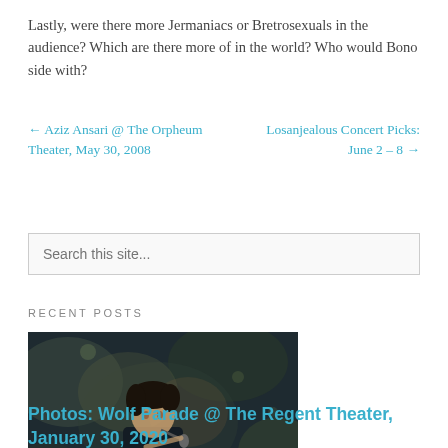Lastly, were there more Jermaniacs or Bretrosexuals in the audience? Which are there more of in the world? Who would Bono side with?
← Aziz Ansari @ The Orpheum Theater, May 30, 2008
Losanjealous Concert Picks: June 2 – 8 →
Search this site...
RECENT POSTS
[Figure (photo): A performer singing into a microphone on stage, dark moody lighting with bokeh background]
Photos: Wolf Parade @ The Regent Theater, January 30, 2020